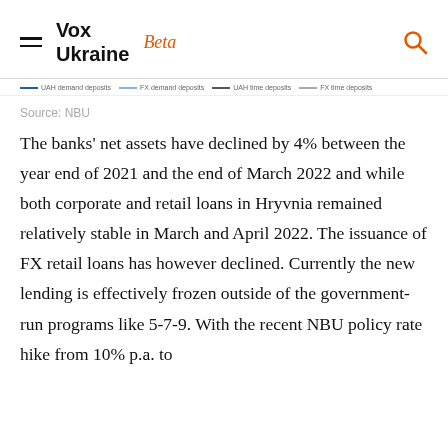Vox Ukraine Beta
UAH demand deposits   FX demand deposits   UAH time deposits   FX time deposits
Source: NBU
The banks' net assets have declined by 4% between the year end of 2021 and the end of March 2022 and while both corporate and retail loans in Hryvnia remained relatively stable in March and April 2022. The issuance of FX retail loans has however declined. Currently the new lending is effectively frozen outside of the government-run programs like 5-7-9. With the recent NBU policy rate hike from 10% p.a. to